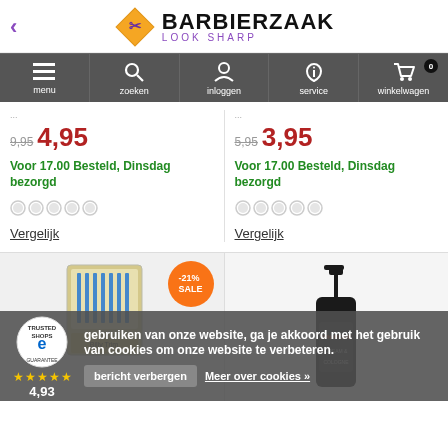BARBIERZAAK - LOOK SHARP
[Figure (screenshot): Navigation bar with menu, zoeken, inloggen, service, winkelwagen icons]
9,95  4,95
Voor 17.00 Besteld, Dinsdag bezorgd
Vergelijk
5,95  3,95
Voor 17.00 Besteld, Dinsdag bezorgd
Vergelijk
[Figure (photo): Hair cutting card product with -21% SALE badge]
[Figure (photo): Cream & Cologne pump bottle (25% more)]
gebruiken van onze website, ga je akkoord met het gebruik van cookies om onze website te verbeteren.
bericht verbergen
Meer over cookies »
4,93